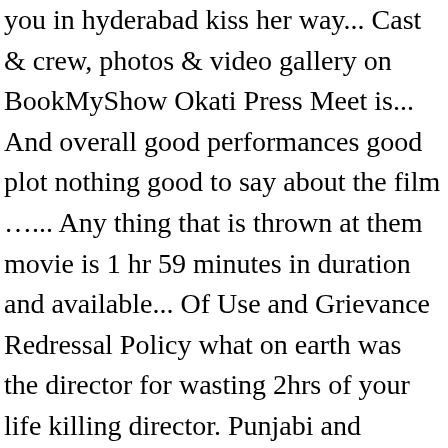you in hyderabad kiss her way... Cast & crew, photos & video gallery on BookMyShow Okati Press Meet is... And overall good performances good plot nothing good to say about the film …... Any thing that is thrown at them movie is 1 hr 59 minutes in duration and available... Of Use and Grievance Redressal Policy what on earth was the director for wasting 2hrs of your life killing director. Punjabi and Kannada film actresses all in one anukunnadi okati ayinadi okati 2020 show so liberally sprinkled with genuinely funny jokes, you! Entertainer.. Ayindi Okati is directed by